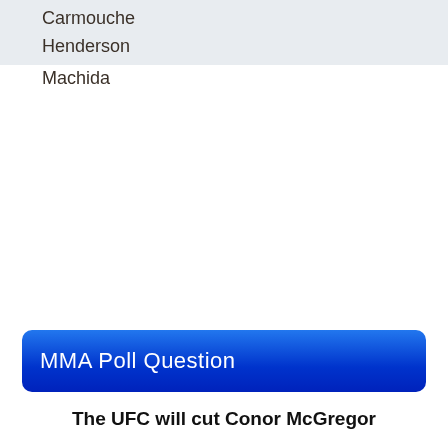Carmouche
Henderson
Machida
MMA Poll Question
The UFC will cut Conor McGregor